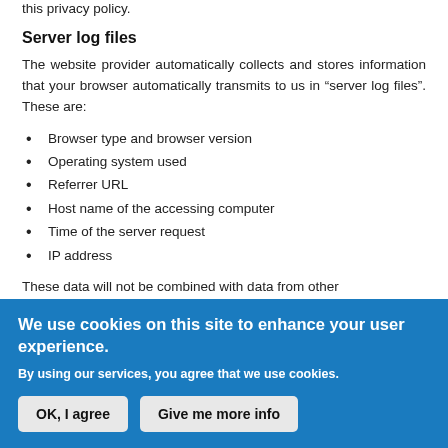this privacy policy.
Server log files
The website provider automatically collects and stores information that your browser automatically transmits to us in "server log files". These are:
Browser type and browser version
Operating system used
Referrer URL
Host name of the accessing computer
Time of the server request
IP address
These data will not be combined with data from other
We use cookies on this site to enhance your user experience.
By using our services, you agree that we use cookies.
OK, I agree   Give me more info